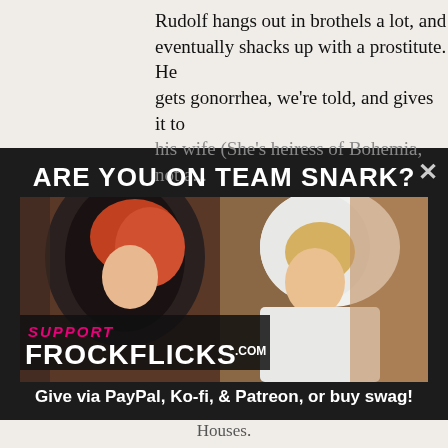Rudolf hangs out in brothels a lot, and eventually shacks up with a prostitute. He gets gonorrhea, we're told, and gives it to his wife (She's heiress of Bohemia, not a...
[Figure (infographic): Advertisement overlay for FrockFlicks.com showing two women in period costume - one with red hair in a dark cloak, one in white with a veil. Text overlay reads SUPPORT FROCKFLICKS.COM]
ARE YOU ON TEAM SNARK?
Give via PayPal, Ko-fi, & Patreon, or buy swag!
Houses.